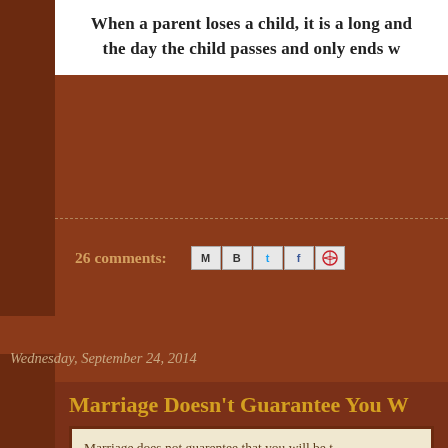When a parent loses a child, it is a long and the day the child passes and only ends w
26 comments:
[Figure (other): Social share icons row: M (email), B (Blogger), t (Twitter), f (Facebook), Pinterest circle icon]
Wednesday, September 24, 2014
Marriage Doesn't Guarantee You W
[Figure (photo): A decorative card with text 'Marriage does not guarentee that you will be t' above a photo of two gold wedding rings stacked together on a warm beige/gold background.]